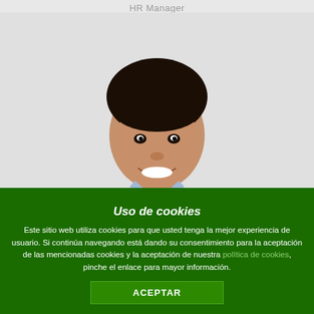HR Manager
[Figure (photo): Smiling young man in a light blue shirt against a light gray background, photographed from the chest up]
Uso de cookies
Este sitio web utiliza cookies para que usted tenga la mejor experiencia de usuario. Si continúa navegando está dando su consentimiento para la aceptación de las mencionadas cookies y la aceptación de nuestra política de cookies, pinche el enlace para mayor información.
ACEPTAR